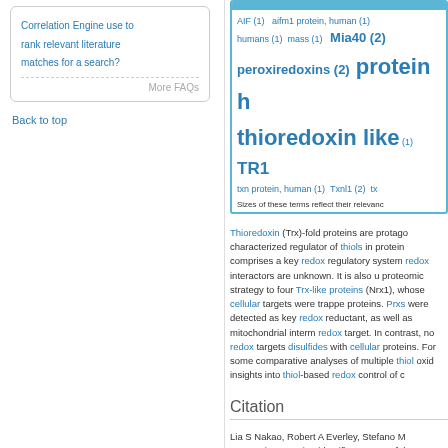Correlation Engine use to rank relevant literature matches for a search?
More FAQs
Back to top
[Figure (infographic): Tag cloud with terms: AIF (1), aifm1 protein, human (1), humans (1), mass (1), Mia40 (2), peroxiredoxins (2), protein h[uman], thioredoxin like (1), TR1, txn protein, human (1), Txnl1 (2), tx[n]. Sizes reflect relevance.]
Thioredoxin (Trx)-fold proteins are protago... characterized regulator of thiols in protein... comprises a key redox regulatory system... redox interactors are unknown. It is also u... proteomic strategy to four Trx-like proteins... (Nrx1), whose cellular targets were trappe... proteins. Prxs were detected as key redox... reductant, as well as mitochondrial interm... redox target. In contrast, no redox targets... disulfides with cellular proteins. For some... comparative analyses of multiple thiol oxid... insights into thiol-based redox control of c...
Citation
Lia S Nakao, Robert A Everley, Stefano M... proteomic screening identifies targets of th...